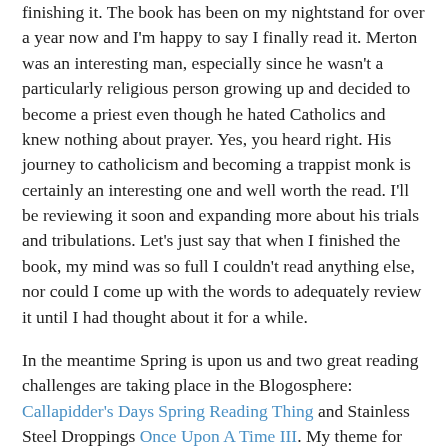finishing it. The book has been on my nightstand for over a year now and I'm happy to say I finally read it. Merton was an interesting man, especially since he wasn't a particularly religious person growing up and decided to become a priest even though he hated Catholics and knew nothing about prayer. Yes, you heard right. His journey to catholicism and becoming a trappist monk is certainly an interesting one and well worth the read. I'll be reviewing it soon and expanding more about his trials and tribulations. Let's just say that when I finished the book, my mind was so full I couldn't read anything else, nor could I come up with the words to adequately review it until I had thought about it for a while.
In the meantime Spring is upon us and two great reading challenges are taking place in the Blogosphere: Callapidder's Days Spring Reading Thing and Stainless Steel Droppings Once Upon A Time III. My theme for the Spring Reading Thing is first time author reads and for OUATIII I will be reading a few new to me authors, a few favorites and revisiting a few oldies. Lots of reading. To start off spring with a bang, I am reading a book Father gave me for Christmas - War and Peace by Leo Tolstoy. No, I have never read anything by Tolstoy believe it or not.